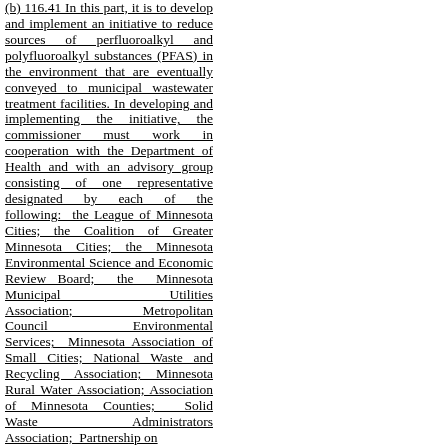(b) 116.41 In this part, it is to develop and implement an initiative to reduce sources of perfluoroalkyl and polyfluoroalkyl substances (PFAS) in the environment that are eventually conveyed to municipal wastewater treatment facilities. In developing and implementing the initiative, the commissioner must work in cooperation with the Department of Health and with an advisory group consisting of one representative designated by each of the following: the League of Minnesota Cities; the Coalition of Greater Minnesota Cities; the Minnesota Environmental Science and Economic Review Board; the Minnesota Municipal Utilities Association; Metropolitan Council Environmental Services; Minnesota Association of Small Cities; National Waste and Recycling Association; Minnesota Rural Water Association; Association of Minnesota Counties; Solid Waste Administrators Association; Partnership on